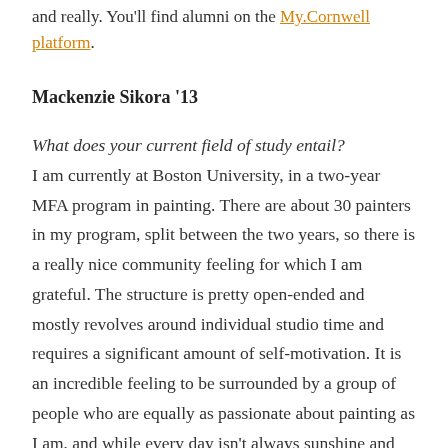and really. You'll find alumni on the My.Cornwell platform.
Mackenzie Sikora '13
What does your current field of study entail?
I am currently at Boston University, in a two-year MFA program in painting. There are about 30 painters in my program, split between the two years, so there is a really nice community feeling for which I am grateful. The structure is pretty open-ended and mostly revolves around individual studio time and requires a significant amount of self-motivation. It is an incredible feeling to be surrounded by a group of people who are equally as passionate about painting as I am, and while every day isn't always sunshine and